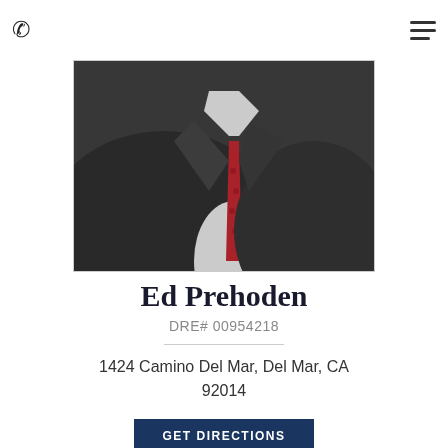[Figure (logo): Team Prehoden logo — blue shield with 'TEAM PREHODEN Your Home Team Advantage' text]
[Figure (photo): Professional headshot/torso photo of Ed Prehoden wearing a dark suit jacket with a red patterned tie and white dress shirt]
Ed Prehoden
DRE# 00954218
1424 Camino Del Mar, Del Mar, CA 92014
GET DIRECTIONS
858-217-5400